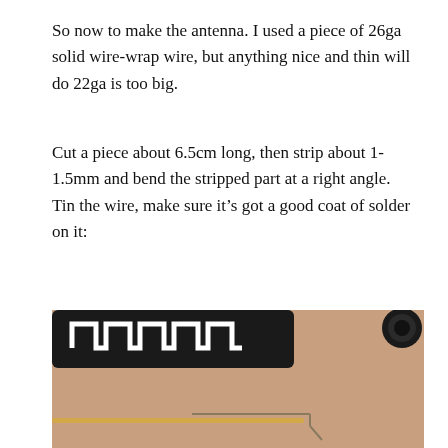So now to make the antenna. I used a piece of 26ga solid wire-wrap wire, but anything nice and thin will do 22ga is too big.
Cut a piece about 6.5cm long, then strip about 1-1.5mm and bend the stripped part at a right angle. Tin the wire, make sure it's got a good coat of solder on it:
[Figure (photo): Photo showing a small black electronic module (with white PCB antenna traces visible on top) placed on a wooden surface, and below it a thin wire bent at a right angle at one end, with a toothpick or matchstick alongside for scale.]